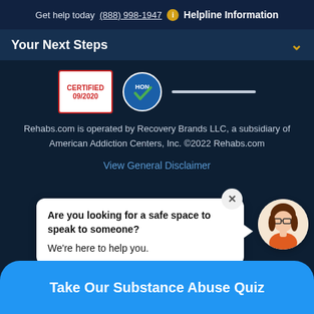Get help today (888) 998-1947 ℹ Helpline Information
Your Next Steps
[Figure (illustration): Certification badge showing CERTIFIED 09/2020 and HONcode circular logo with check mark and a horizontal line]
Rehabs.com is operated by Recovery Brands LLC, a subsidiary of American Addiction Centers, Inc. ©2022 Rehabs.com
View General Disclaimer
Are you looking for a safe space to speak to someone? We're here to help you.
[Figure (illustration): Circular avatar of a female support representative with brown hair and glasses wearing an orange shirt]
Take Our Substance Abuse Quiz